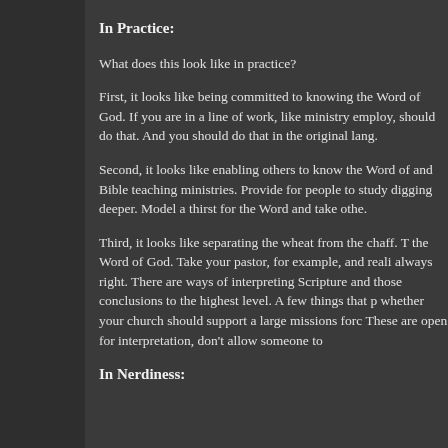In Practice:
What does this look like in practice?
First, it looks like being committed to knowing the Word of God. If you are in a line of work, like ministry employ, should do that. And you should do that in the original lang.
Second, it looks like enabling others to know the Word of and Bible teaching ministries. Provide for people to study digging deeper. Model a thirst for the Word and take othe.
Third, it looks like separating the wheat from the chaff. T the Word of God. Take your pastor, for example, and reali always right. There are ways of interpreting Scripture and those conclusions to the highest level. A few things that p whether your church should support a large missions forc These are open for interpretation, don't allow someone to
In Nerdiness: